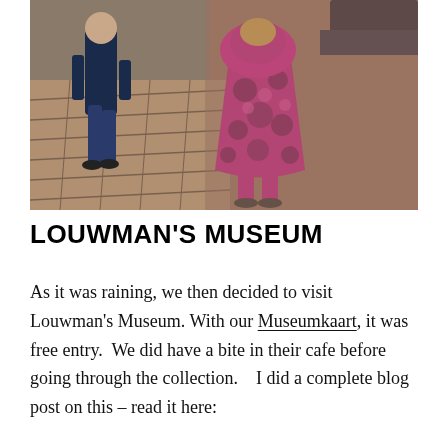[Figure (photo): Two children walking away from the camera on a brick/cobblestone path. On the right is a young girl in a bright magenta/pink polka-dot raincoat with hood. On the left is a child in dark jeans and navy jacket. The background shows a reddish-gravel surface and a partial view of a car.]
LOUWMAN'S MUSEUM
As it was raining, we then decided to visit Louwman's Museum. With our Museumkaart, it was free entry.  We did have a bite in their cafe before going through the collection.   I did a complete blog post on this – read it here: